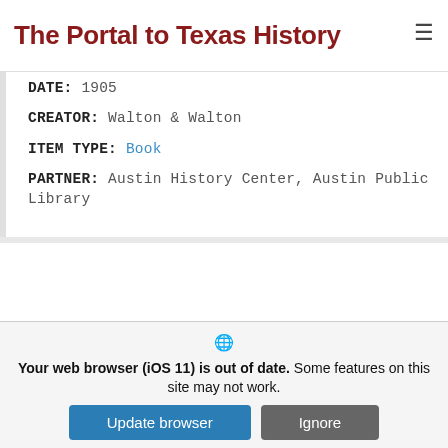The Portal to Texas History
DATE: 1905
CREATOR: Walton & Walton
ITEM TYPE: Book
PARTNER: Austin History Center, Austin Public Library
[Figure (photo): Book cover thumbnail for Morrison & Fourmy's General Directory of the City of Austin for 1897-1898, showing Monroe Miller Eclipse Stables advertisement with Undertaker text.]
Morrison & Fourmy's General Directory of the City of Austin for 1897-1898
"Containing the present
Your web browser (iOS 11) is out of date. Some features on this site may not work.
Update browser
Ignore